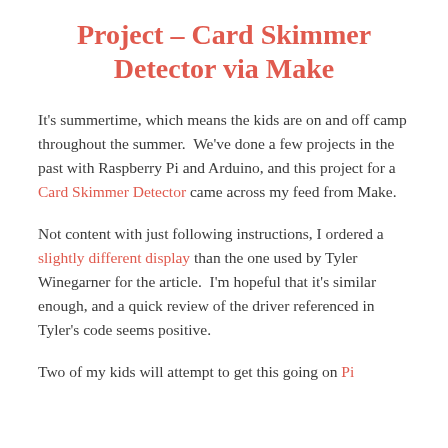Project – Card Skimmer Detector via Make
It's summertime, which means the kids are on and off camp throughout the summer.  We've done a few projects in the past with Raspberry Pi and Arduino, and this project for a Card Skimmer Detector came across my feed from Make.
Not content with just following instructions, I ordered a slightly different display than the one used by Tyler Winegarner for the article.  I'm hopeful that it's similar enough, and a quick review of the driver referenced in Tyler's code seems positive.
Two of my kids will attempt to get this going on Pi